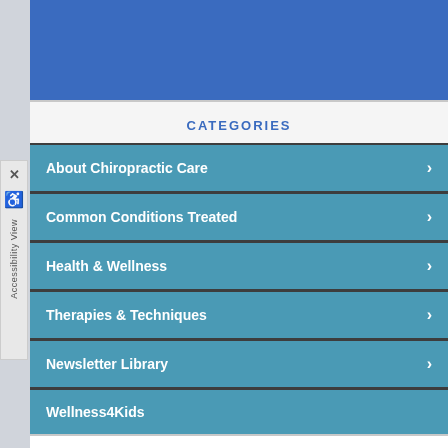[Figure (screenshot): Blue header banner at top of chiropractic website mobile view]
CATEGORIES
About Chiropractic Care
Common Conditions Treated
Health & Wellness
Therapies & Techniques
Newsletter Library
Wellness4Kids
Office Hours